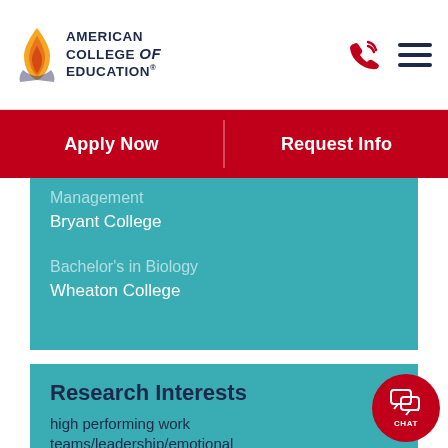American College of Education
Apply Now | Request Info
Management
Bryant College
Bachelor's in Biology
Wheaton College
Research Interests
high performing work teams/leadership/emotional